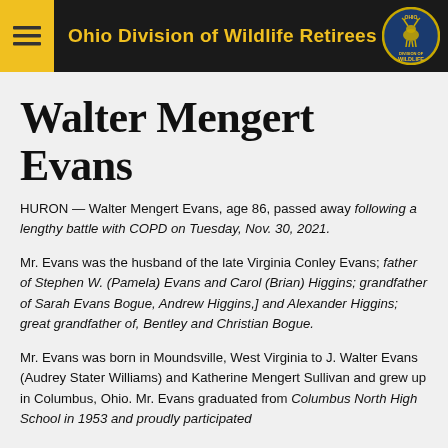Ohio Division of Wildlife Retirees
Walter Mengert Evans
HURON — Walter Mengert Evans, age 86, passed away following a lengthy battle with COPD on Tuesday, Nov. 30, 2021.
Mr. Evans was the husband of the late Virginia Conley Evans; father of Stephen W. (Pamela) Evans and Carol (Brian) Higgins; grandfather of Sarah Evans Bogue, Andrew Higgins,] and Alexander Higgins; great grandfather of, Bentley and Christian Bogue.
Mr. Evans was born in Moundsville, West Virginia to J. Walter Evans (Audrey Stater Williams) and Katherine Mengert Sullivan and grew up in Columbus, Ohio. Mr. Evans graduated from Columbus North High School in 1953 and proudly participated